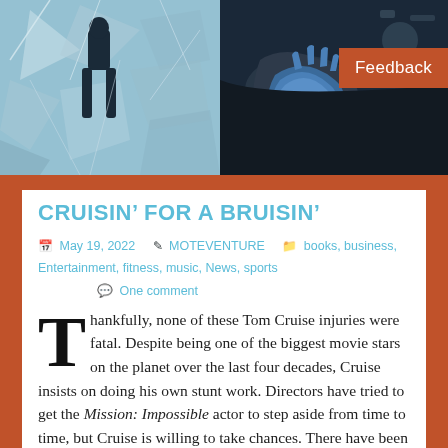[Figure (photo): Two action/movie stunt photos side by side. Left photo shows a figure against a shattered icy or glass background. Right photo shows a person in dark clothing with blue gloves.]
CRUISIN’ FOR A BRUISIN’
May 19, 2022   MOTEVENTURE   books, business, Entertainment, fitness, music, News, sports   One comment
Thankfully, none of these Tom Cruise injuries were fatal. Despite being one of the biggest movie stars on the planet over the last four decades, Cruise insists on doing his own stunt work. Directors have tried to get the Mission: Impossible actor to step aside from time to time, but Cruise is willing to take chances. There have been stunts where the